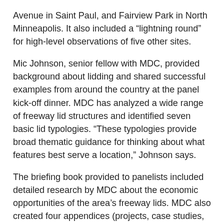Avenue in Saint Paul, and Fairview Park in North Minneapolis. It also included a “lightning round” for high-level observations of five other sites.
Mic Johnson, senior fellow with MDC, provided background about lidding and shared successful examples from around the country at the panel kick-off dinner. MDC has analyzed a wide range of freeway lid structures and identified seven basic lid typologies. “These typologies provide broad thematic guidance for thinking about what features best serve a location,” Johnson says.
The briefing book provided to panelists included detailed research by MDC about the economic opportunities of the area’s freeway lids. MDC also created four appendices (projects, case studies, prototypical lid diagrams, and health and economic value) for the panel final report.
MDC has been involved in lid-related activities for several